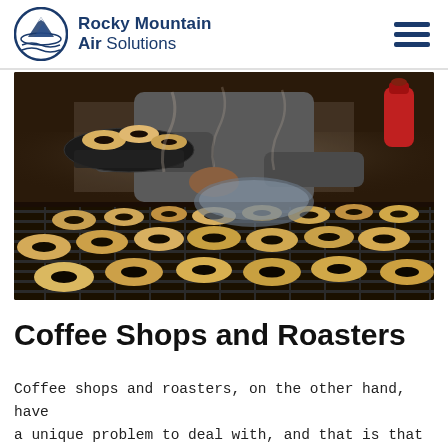Rocky Mountain Air Solutions
[Figure (photo): A baker holding a wire basket full of uncooked bagels over a dark grill rack covered with many raw bagels, with steam rising in a commercial kitchen setting.]
Coffee Shops and Roasters
Coffee shops and roasters, on the other hand, have a unique problem to deal with, and that is that